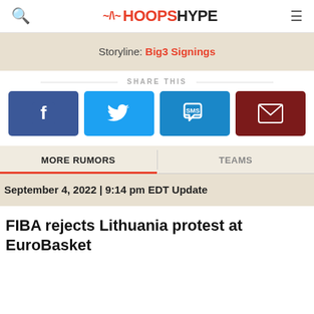HOOPSHYPE
Storyline: Big3 Signings
SHARE THIS
[Figure (infographic): Social share buttons: Facebook (blue), Twitter (cyan), SMS (blue), Email (dark red)]
MORE RUMORS | TEAMS
September 4, 2022 | 9:14 pm EDT Update
FIBA rejects Lithuania protest at EuroBasket